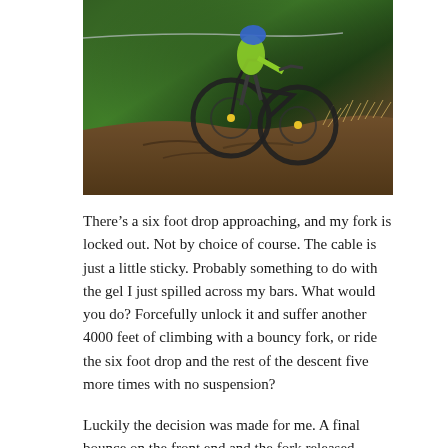[Figure (photo): A mountain biker wearing a blue helmet and neon green jacket racing down a steep, rooty dirt trail through a green forest. The bike is a full-suspension mountain bike. The rider is leaning into the descent at speed.]
There's a six foot drop approaching, and my fork is locked out. Not by choice of course. The cable is just a little sticky. Probably something to do with the gel I just spilled across my bars. What would you do? Forcefully unlock it and suffer another 4000 feet of climbing with a bouncy fork, or ride the six foot drop and the rest of the descent five more times with no suspension?
Luckily the decision was made for me. A final bounce on the front end and the fork released, giving me some sweet, buttery suspension to cushion the drop. I squirted my bottle at the lockout